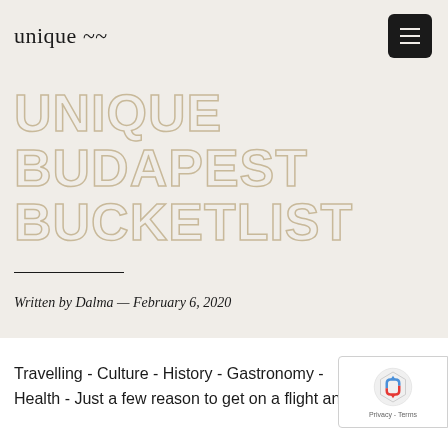unique ~~
UNIQUE BUDAPEST BUCKETLIST
Written by Dalma — February 6, 2020
Travelling - Culture - History - Gastronomy - Health - Just a few reason to get on a flight and